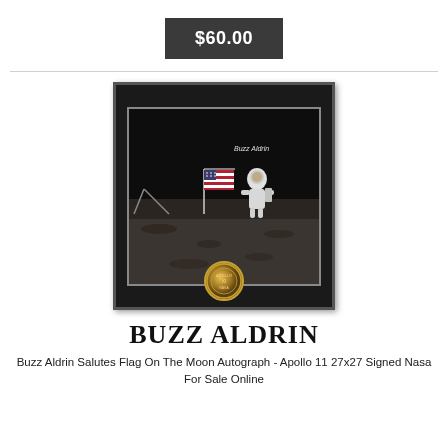$60.00
[Figure (photo): Framed autographed photo of Buzz Aldrin saluting the American flag on the Moon during Apollo 11 mission, with a medallion at the bottom of the frame.]
BUZZ ALDRIN
Buzz Aldrin Salutes Flag On The Moon Autograph - Apollo 11 27x27 Signed Nasa For Sale Online